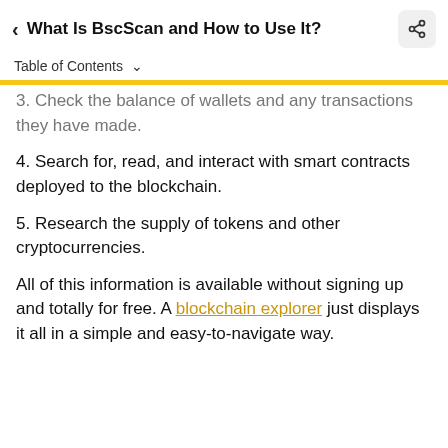< What Is BscScan and How to Use It?
Table of Contents ▾
3. Check the balance of wallets and any transactions they have made.
4. Search for, read, and interact with smart contracts deployed to the blockchain.
5. Research the supply of tokens and other cryptocurrencies.
All of this information is available without signing up and totally for free. A blockchain explorer just displays it all in a simple and easy-to-navigate way.